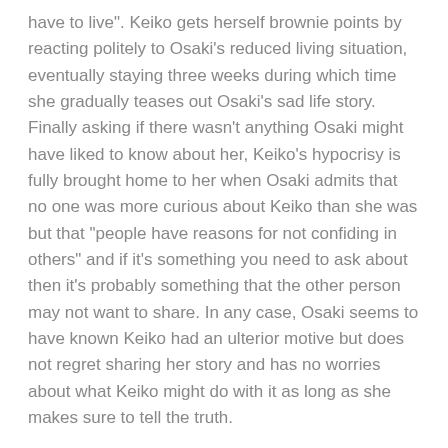have to live". Keiko gets herself brownie points by reacting politely to Osaki's reduced living situation, eventually staying three weeks during which time she gradually teases out Osaki's sad life story. Finally asking if there wasn't anything Osaki might have liked to know about her, Keiko's hypocrisy is fully brought home to her when Osaki admits that no one was more curious about Keiko than she was but that "people have reasons for not confiding in others" and if it's something you need to ask about then it's probably something that the other person may not want to share. In any case, Osaki seems to have known Keiko had an ulterior motive but does not regret sharing her story and has no worries about what Keiko might do with it as long as she makes sure to tell the truth.
The truth, in a sense, seems to be something the villagers feel themselves well acquainted with which is why Osaki lives in a shack on the edge of town. Tricked into sexual slavery as a child by an amoral people trafficker who lured her with promises of money to be made overseas, Osaki found herself in Borneo and a prisoner of "Sandakan No. 8" which was one of 10 numbered brothels on the